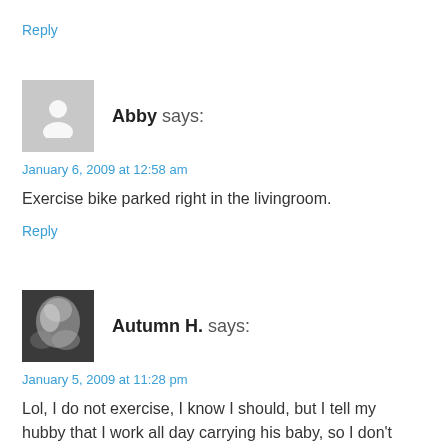Reply
[Figure (photo): Default avatar placeholder — grey silhouette of a person on grey background]
Abby says:
January 6, 2009 at 12:58 am
Exercise bike parked right in the livingroom.
Reply
[Figure (photo): Black and white photo of a baby or infant]
Autumn H. says:
January 5, 2009 at 11:28 pm
Lol, I do not exercise, I know I should, but I tell my hubby that I work all day carrying his baby, so I don't